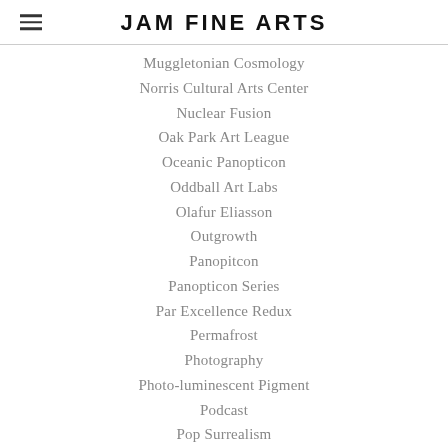JAM FINE ARTS
Muggletonian Cosmology
Norris Cultural Arts Center
Nuclear Fusion
Oak Park Art League
Oceanic Panopticon
Oddball Art Labs
Olafur Eliasson
Outgrowth
Panopitcon
Panopticon Series
Par Excellence Redux
Permafrost
Photography
Photo-luminescent Pigment
Podcast
Pop Surrealism
Proposal
Pseudoscience
Pseudoscientific Art